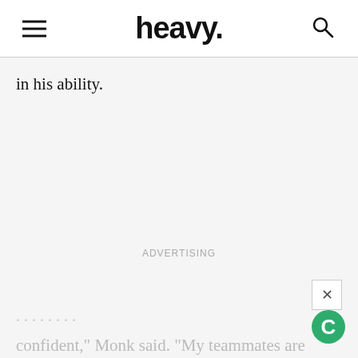heavy.
in his ability.
ADVERTISING
confident," Monk said. "My teammates are